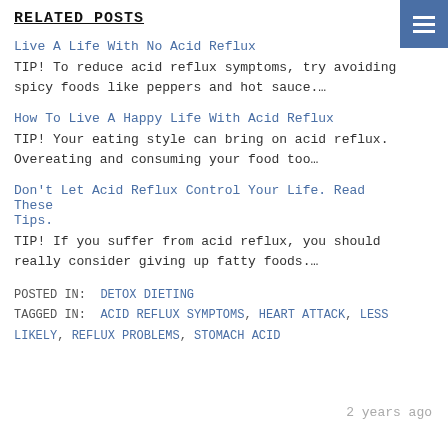RELATED POSTS
Live A Life With No Acid Reflux
TIP! To reduce acid reflux symptoms, try avoiding spicy foods like peppers and hot sauce....
How To Live A Happy Life With Acid Reflux
TIP! Your eating style can bring on acid reflux. Overeating and consuming your food too...
Don't Let Acid Reflux Control Your Life. Read These Tips.
TIP! If you suffer from acid reflux, you should really consider giving up fatty foods....
POSTED IN: DETOX DIETING
TAGGED IN: ACID REFLUX SYMPTOMS, HEART ATTACK, LESS LIKELY, REFLUX PROBLEMS, STOMACH ACID
2 years ago